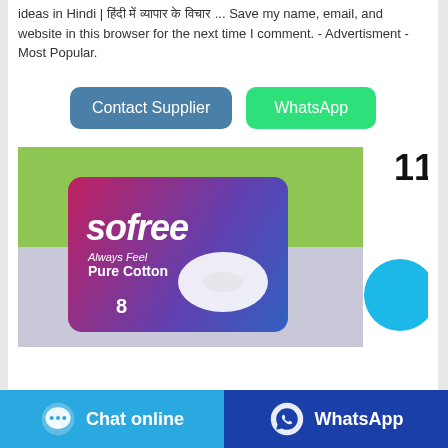ideas in Hindi | हिंदी में व्यापार के विचार ... Save my name, email, and website in this browser for the next time I comment. - Advertisment - Most Popular.
[Figure (other): Two buttons: 'Contact Supplier' (blue-grey rounded) and 'WhatsApp' (green rounded)]
[Figure (photo): Product image of 'sofree Pure Cotton' sanitary pad packaging, blue/pink/purple gradient box with white pad, number 11 badge, blue circle element]
[Figure (other): Bottom navigation bar with 'Chat online' button (light blue) and 'WhatsApp' button (dark blue)]